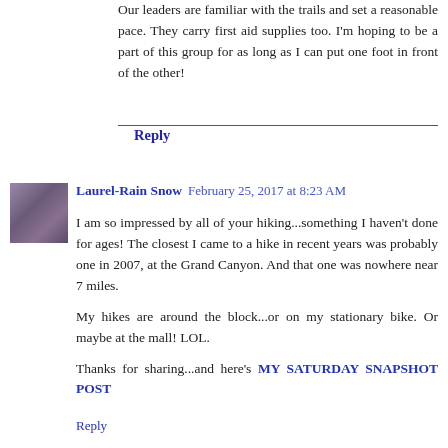Our leaders are familiar with the trails and set a reasonable pace. They carry first aid supplies too. I'm hoping to be a part of this group for as long as I can put one foot in front of the other!
Reply
Laurel-Rain Snow  February 25, 2017 at 8:23 AM
I am so impressed by all of your hiking...something I haven't done for ages! The closest I came to a hike in recent years was probably one in 2007, at the Grand Canyon. And that one was nowhere near 7 miles.

My hikes are around the block...or on my stationary bike. Or maybe at the mall! LOL.

Thanks for sharing...and here's MY SATURDAY SNAPSHOT POST
Reply